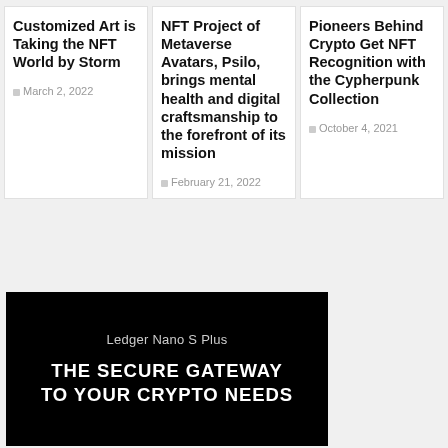Customized Art is Taking the NFT World by Storm
March 2, 2022
NFT Project of Metaverse Avatars, Psilo, brings mental health and digital craftsmanship to the forefront of its mission
February 21, 2022
Pioneers Behind Crypto Get NFT Recognition with the Cypherpunk Collection
October 4, 2021
[Figure (screenshot): Ledger Nano S Plus advertisement banner with black background. Text reads 'Ledger Nano S Plus' and 'THE SECURE GATEWAY TO YOUR CRYPTO NEEDS']